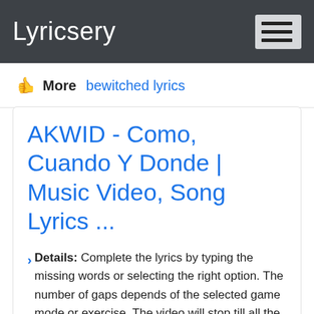Lyricsery
👍 More  bewitched lyrics
AKWID - Como, Cuando Y Donde | Music Video, Song Lyrics ...
> Details: Complete the lyrics by typing the missing words or selecting the right option. The number of gaps depends of the selected game mode or exercise. The video will stop till all the gaps in the line are filled in. If the video stops your life will go down, when your life runs out the game ends.
✓ Verified: